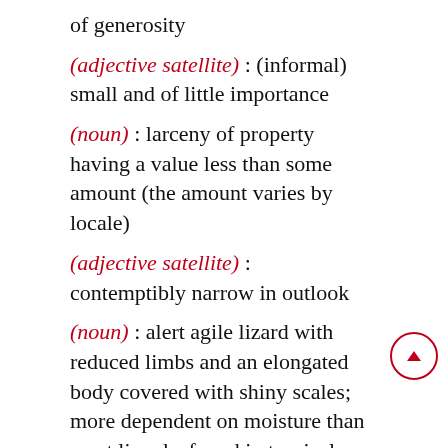of generosity
(adjective satellite) : (informal) small and of little importance
(noun) : larceny of property having a value less than some amount (the amount varies by locale)
(adjective satellite) : contemptibly narrow in outlook
(noun) : alert agile lizard with reduced limbs and an elongated body covered with shiny scales; more dependent on moisture than most lizards; found in tropical regions worldwide
(adjective satellite) : small or little relative to something else
(noun) : American chemist who with Robert